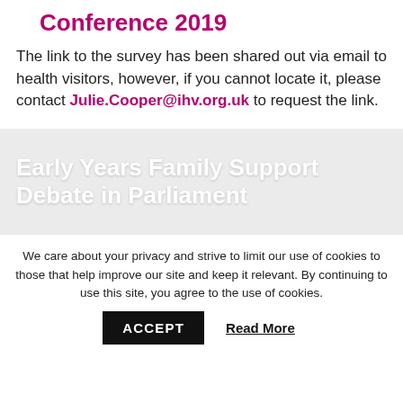Conference 2019
The link to the survey has been shared out via email to health visitors, however, if you cannot locate it, please contact Julie.Cooper@ihv.org.uk to request the link.
Early Years Family Support Debate in Parliament
We care about your privacy and strive to limit our use of cookies to those that help improve our site and keep it relevant. By continuing to use this site, you agree to the use of cookies.